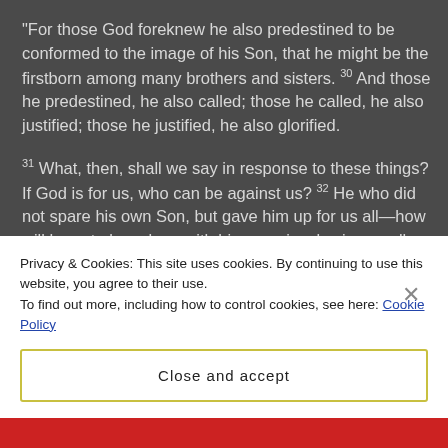“For those God foreknew he also predestined to be conformed to the image of his Son, that he might be the firstborn among many brothers and sisters. 30 And those he predestined, he also called; those he called, he also justified; those he justified, he also glorified.

31 What, then, shall we say in response to these things? If God is for us, who can be against us? 32 He who did not spare his own Son, but gave him up for us all—how will he not also, along with him, graciously give us all things?”
Privacy & Cookies: This site uses cookies. By continuing to use this website, you agree to their use.
To find out more, including how to control cookies, see here: Cookie Policy
Close and accept